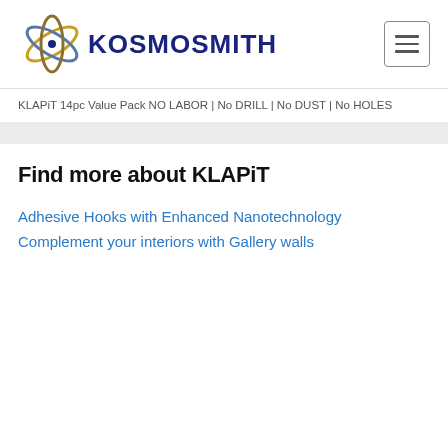[Figure (logo): Kosmosmith logo with atom/orbital graphic and bold dark blue text KOSMOSMITH]
KLAPiT 14pc Value Pack NO LABOR | No DRILL | No DUST | No HOLES
Find more about KLAPiT
Adhesive Hooks with Enhanced Nanotechnology
Complement your interiors with Gallery walls